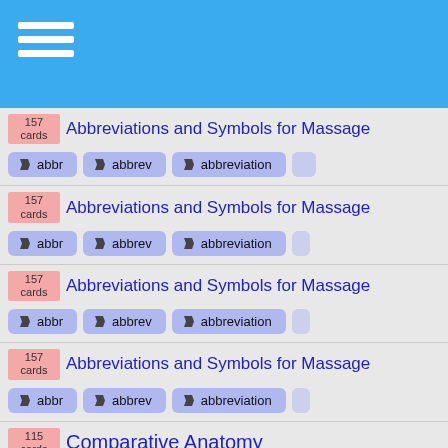Navigation header with hamburger menu
157 cards – Abbreviations and Symbols for Massage
157 cards – Abbreviations and Symbols for Massage
157 cards – Abbreviations and Symbols for Massage
157 cards – Abbreviations and Symbols for Massage
115 cards – Comparative Anatomy
85 cards – Psych 270 Exam 2
106 cards – history111final